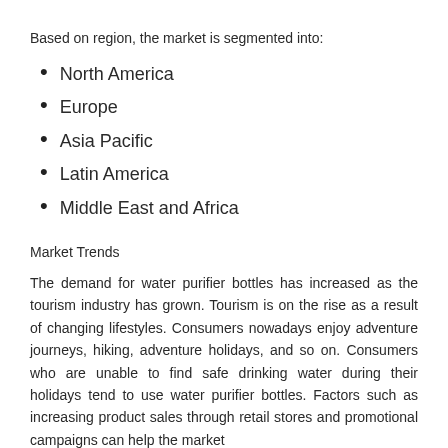Based on region, the market is segmented into:
North America
Europe
Asia Pacific
Latin America
Middle East and Africa
Market Trends
The demand for water purifier bottles has increased as the tourism industry has grown. Tourism is on the rise as a result of changing lifestyles. Consumers nowadays enjoy adventure journeys, hiking, adventure holidays, and so on. Consumers who are unable to find safe drinking water during their holidays tend to use water purifier bottles. Factors such as increasing product sales through retail stores and promotional campaigns can help the market